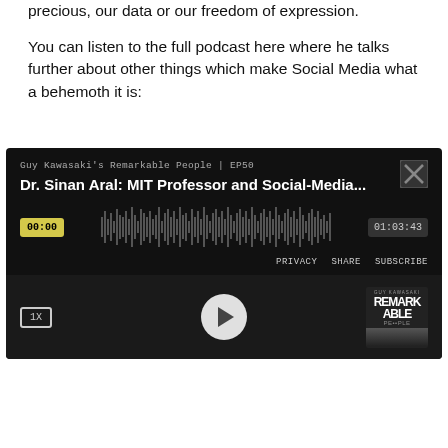precious, our data or our freedom of expression.
You can listen to the full podcast here where he talks further about other things which make Social Media what a behemoth it is:
[Figure (screenshot): Podcast player embed for 'Guy Kawasaki's Remarkable People | EP50 - Dr. Sinan Aral: MIT Professor and Social-Media...' showing waveform, timestamps 00:00 and 01:03:43, playback controls, privacy/share/subscribe links, and podcast thumbnail.]